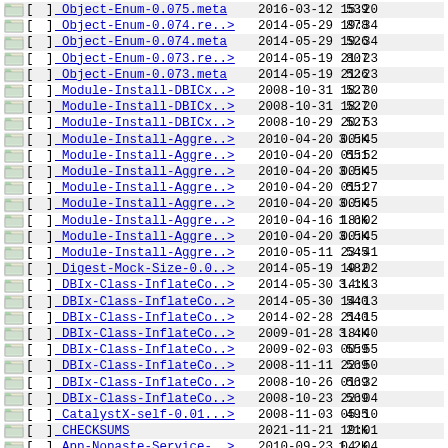| icon | name | date | time | size |
| --- | --- | --- | --- | --- |
| [img] | Object-Enum-0.075.meta | 2016-03-12 | 15:20 | 539 |
| [img] | Object-Enum-0.074.re..> | 2014-05-29 | 19:34 | 878 |
| [img] | Object-Enum-0.074.meta | 2014-05-29 | 19:34 | 526 |
| [img] | Object-Enum-0.073.re..> | 2014-05-19 | 21:23 | 807 |
| [img] | Object-Enum-0.073.meta | 2014-05-19 | 21:23 | 526 |
| [img] | Module-Install-DBICx..> | 2008-10-31 | 18:30 | 527 |
| [img] | Module-Install-DBICx..> | 2008-10-31 | 18:20 | 527 |
| [img] | Module-Install-DBICx..> | 2008-10-29 | 20:53 | 527 |
| [img] | Module-Install-Aggre..> | 2010-04-20 | 00:45 | 3.5K |
| [img] | Module-Install-Aggre..> | 2010-04-20 | 01:52 | 551 |
| [img] | Module-Install-Aggre..> | 2010-04-20 | 00:45 | 3.5K |
| [img] | Module-Install-Aggre..> | 2010-04-20 | 01:27 | 551 |
| [img] | Module-Install-Aggre..> | 2010-04-20 | 00:45 | 3.5K |
| [img] | Module-Install-Aggre..> | 2010-04-16 | 18:02 | 1.6K |
| [img] | Module-Install-Aggre..> | 2010-04-20 | 00:45 | 3.5K |
| [img] | Module-Install-Aggre..> | 2010-05-11 | 23:41 | 545 |
| [img] | Digest-Mock-Size-0.0..> | 2014-05-19 | 19:02 | 482 |
| [img] | DBIx-Class-InflateCo..> | 2014-05-30 | 14:13 | 3.1K |
| [img] | DBIx-Class-InflateCo..> | 2014-05-30 | 14:13 | 540 |
| [img] | DBIx-Class-InflateCo..> | 2014-02-28 | 21:15 | 540 |
| [img] | DBIx-Class-InflateCo..> | 2009-01-28 | 18:40 | 3.4K |
| [img] | DBIx-Class-InflateCo..> | 2009-02-03 | 00:55 | 559 |
| [img] | DBIx-Class-InflateCo..> | 2008-11-11 | 22:50 | 569 |
| [img] | DBIx-Class-InflateCo..> | 2008-10-26 | 01:32 | 569 |
| [img] | DBIx-Class-InflateCo..> | 2008-10-23 | 22:04 | 569 |
| [img] | CatalystX-self-0.01...> | 2008-11-03 | 05:10 | 495 |
| [img] | CHECKSUMS | 2021-11-21 | 19:01 | 21K |
| [img] | App-Nopaste-Service-..> | 2010-09-23 | 04:04 | 1.2K |